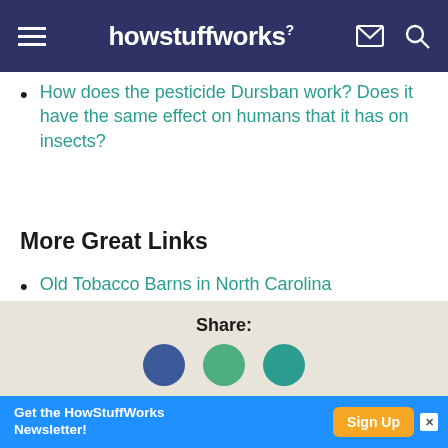howstuffworks
How does the pesticide Dursban work? Does it have the same effect on humans that it has on insects?
More Great Links
Old Tobacco Barns in North Carolina
Wisconsin Barns
Barns from Northern Virginia's Rural Past
Share:
Get the HowStuffWorks Newsletter! Sign Up